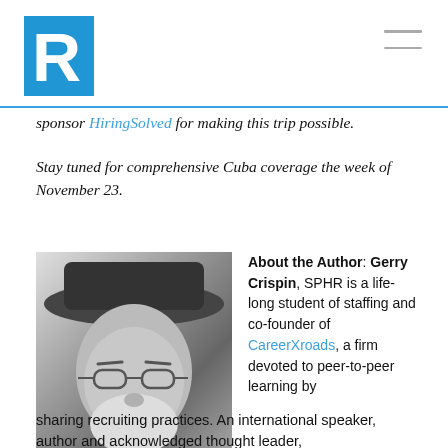R logo and navigation menu
sponsor HiringSolved for making this trip possible.
Stay tuned for comprehensive Cuba coverage the week of November 23.
[Figure (photo): Black and white photo of a man wearing a wide-brimmed hat and glasses, with a white beard]
About the Author: Gerry Crispin, SPHR is a life-long student of staffing and co-founder of CareerXroads, a firm devoted to peer-to-peer learning by sharing recruiting practices. An international speaker, author and acknowledged thought leader,